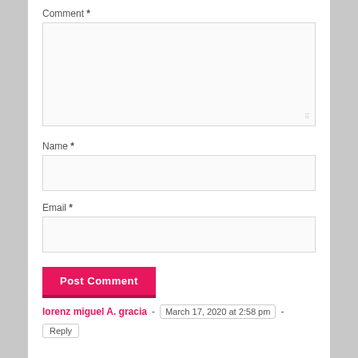Comment *
Name *
Email *
Post Comment
lorenz miguel A. gracia - March 17, 2020 at 2:58 pm - Reply